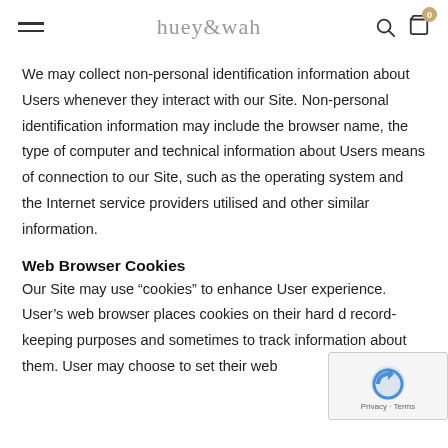huey&wah
We may collect non-personal identification information about Users whenever they interact with our Site. Non-personal identification information may include the browser name, the type of computer and technical information about Users means of connection to our Site, such as the operating system and the Internet service providers utilised and other similar information.
Web Browser Cookies
Our Site may use “cookies” to enhance User experience. User’s web browser places cookies on their hard d record-keeping purposes and sometimes to track information about them. User may choose to set their web